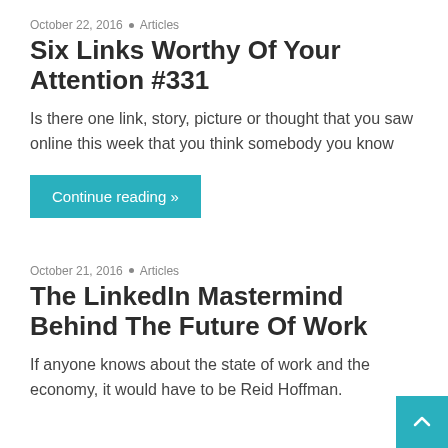October 22, 2016 • Articles
Six Links Worthy Of Your Attention #331
Is there one link, story, picture or thought that you saw online this week that you think somebody you know
Continue reading »
October 21, 2016 • Articles
The LinkedIn Mastermind Behind The Future Of Work
If anyone knows about the state of work and the economy, it would have to be Reid Hoffman.